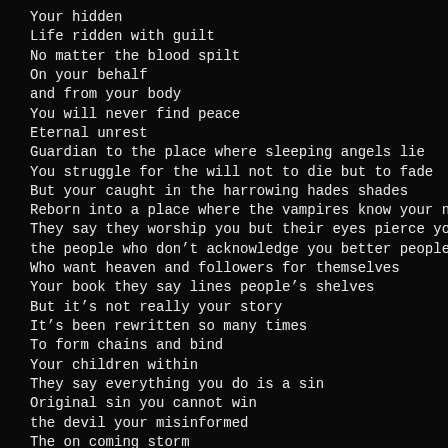Your hidden
Life ridden with guilt
No matter the blood spilt
On your behalf
and from your body
You will never find peace
Eternal unrest
Guardian to the place where sleeping angels lie
You struggle for the will not to die but to fade
But your caught in the harrowing hades shades
Reborn into a place where the vampires know your name
They say they worship you but their eyes pierce you with blame
the people who don't acknowledge you better people than your followers
Who want heaven and followers for themselves
Your book they say lines people's shelves
But it's not really your story
It's been rewritten so many times
To form chains and bind
Your children within
They say everything you do is a sin
Original sin you cannot win
the devil your misinformed
The on coming storm